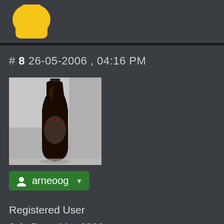[Figure (illustration): Yellow avatar/profile icon at top of forum post]
# 8 26-05-2006 , 04:16 PM
[Figure (photo): Profile avatar image showing a Coca-Cola bottle tilted at an angle on a light background]
arneoog
Registered User
Join Date: Mar 2006
Location: Norway
Posts: 189